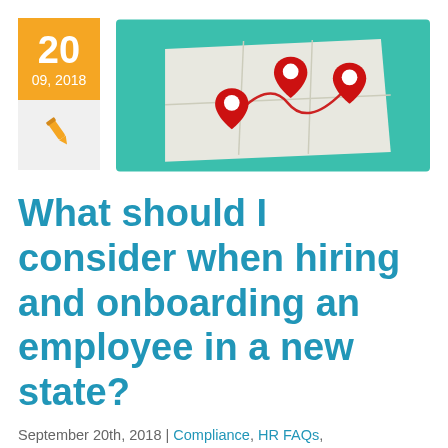[Figure (other): Date badge showing '20' and '09, 2018' on an orange background, with a pen/quill icon below on a light gray background]
[Figure (illustration): Illustrated map with three red location pin markers on a teal/green background, folded paper map style]
What should I consider when hiring and onboarding an employee in a new state?
September 20th, 2018 | Compliance, HR FAQs, Recruiting & Hiring